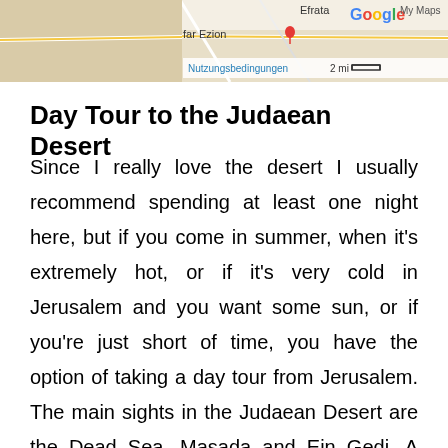[Figure (map): Google My Maps screenshot showing the area around far Ezion and Efrata, with Nutzungsbedingungen (terms of use) label and 2 mi scale bar.]
Day Tour to the Judaean Desert
Since I really love the desert I usually recommend spending at least one night here, but if you come in summer, when it's extremely hot, or if it's very cold in Jerusalem and you want some sun, or if you're just short of time, you have the option of taking a day tour from Jerusalem. The main sights in the Judaean Desert are the Dead Sea, Masada and Ein Gedi. A private guide with a car is always the best option but you can also get yourself there on public transportation, rent a car or join a tour